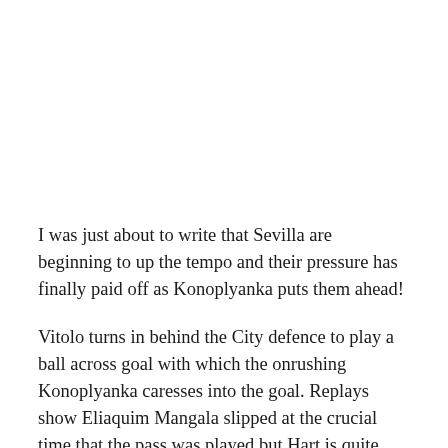I was just about to write that Sevilla are beginning to up the tempo and their pressure has finally paid off as Konoplyanka puts them ahead!
Vitolo turns in behind the City defence to play a ball across goal with which the onrushing Konoplyanka caresses into the goal. Replays show Eliaquim Mangala slipped at the crucial time that the pass was played but Hart is quite rightly furious with his defence. A poor goal to concede and now City have it all to do...